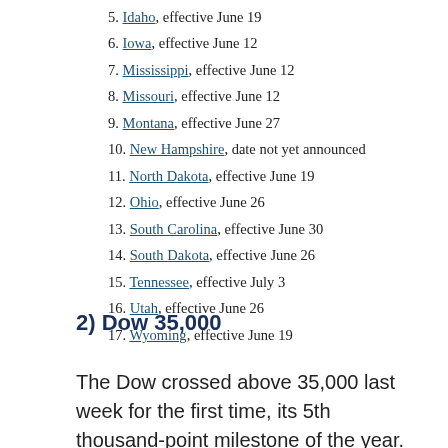5. Idaho, effective June 19
6. Iowa, effective June 12
7. Mississippi, effective June 12
8. Missouri, effective June 12
9. Montana, effective June 27
10. New Hampshire, date not yet announced
11. North Dakota, effective June 19
12. Ohio, effective June 26
13. South Carolina, effective June 30
14. South Dakota, effective June 26
15. Tennessee, effective July 3
16. Utah, effective June 26
17. Wyoming, effective June 19
2) Dow 35,000
The Dow crossed above 35,000 last week for the first time, its 5th thousand-point milestone of the year.